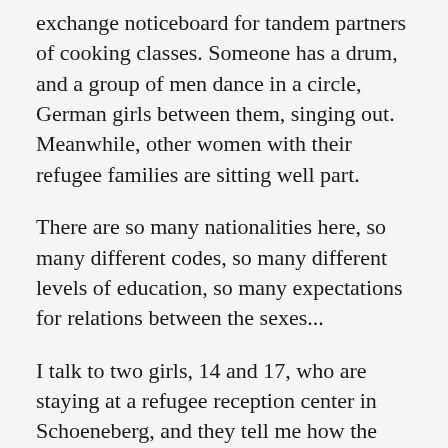exchange noticeboard for tandem partners of cooking classes. Someone has a drum, and a group of men dance in a circle, German girls between them, singing out. Meanwhile, other women with their refugee families are sitting well part.
There are so many nationalities here, so many different codes, so many different levels of education, so many expectations for relations between the sexes...
I talk to two girls, 14 and 17, who are staying at a refugee reception center in Schoeneberg, and they tell me how the presence of so many young men frightens them. They feel threatened. ‘Some men, especially, don’t have much experience around women’, the elder tells me, ‘I feel watched all the time: when I eat, for example. I’m afraid to go to the bathrooms’. Then she smiles, ‘And the baths